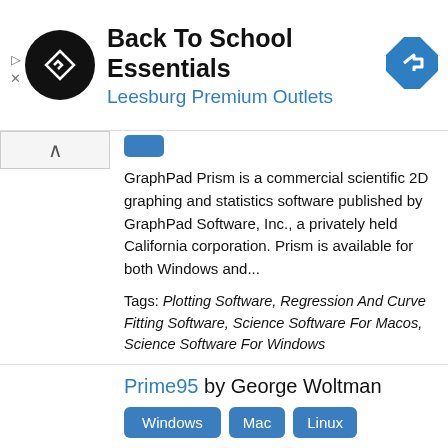[Figure (advertisement): Ad banner: Back To School Essentials, Leesburg Premium Outlets with logo and navigation icon]
GraphPad Prism is a commercial scientific 2D graphing and statistics software published by GraphPad Software, Inc., a privately held California corporation. Prism is available for both Windows and...
Tags: Plotting Software, Regression And Curve Fitting Software, Science Software For Macos, Science Software For Windows
Prime95 by George Woltman
Windows  Mac  Linux
Prime95 is the freeware application written by George Woltman that is used by GIMPS, a distributed computing project dedicated to